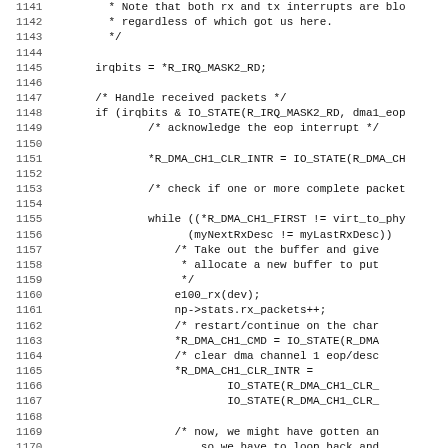Source code listing, lines 1141-1172+, C kernel/driver code with DMA and IRQ handling